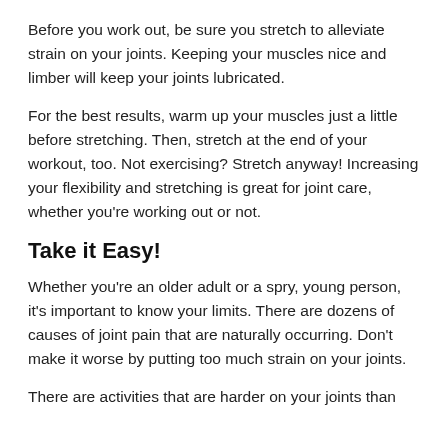Before you work out, be sure you stretch to alleviate strain on your joints. Keeping your muscles nice and limber will keep your joints lubricated.
For the best results, warm up your muscles just a little before stretching. Then, stretch at the end of your workout, too. Not exercising? Stretch anyway! Increasing your flexibility and stretching is great for joint care, whether you're working out or not.
Take it Easy!
Whether you're an older adult or a spry, young person, it's important to know your limits. There are dozens of causes of joint pain that are naturally occurring. Don't make it worse by putting too much strain on your joints.
There are activities that are harder on your joints than